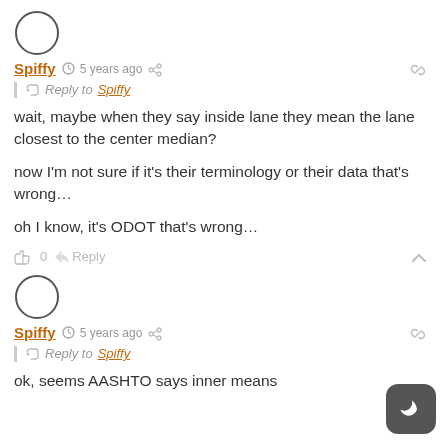[Figure (illustration): User avatar circle (empty/blank) for first comment by Spiffy]
Spiffy  5 years ago
Reply to Spiffy
wait, maybe when they say inside lane they mean the lane closest to the center median?

now I'm not sure if it's their terminology or their data that's wrong…

oh I know, it's ODOT that's wrong…
0  Reply
[Figure (illustration): User avatar circle (empty/blank) for second comment by Spiffy]
Spiffy  5 years ago
Reply to Spiffy
ok, seems AASHTO says inner means